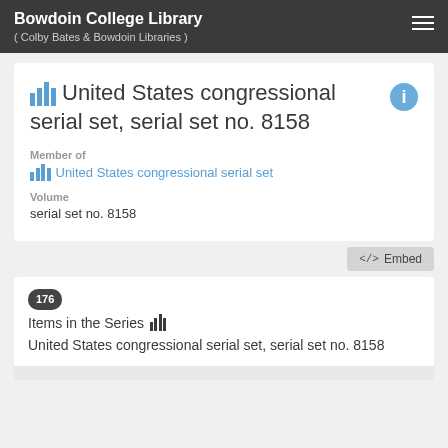Bowdoin College Library ( Colby Bates & Bowdoin Libraries )
United States congressional serial set, serial set no. 8158
Member of
United States congressional serial set
Volume
serial set no. 8158
Embed
176 Items in the Series United States congressional serial set, serial set no. 8158